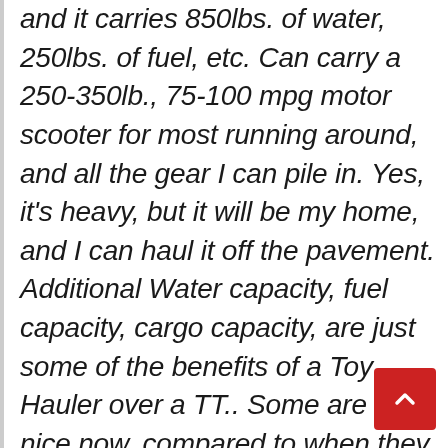and it carries 850lbs. of water, 250lbs. of fuel, etc. Can carry a 250-350lb., 75-100 mpg motor scooter for most running around, and all the gear I can pile in. Yes, it's heavy, but it will be my home, and I can haul it off the pavement. Additional Water capacity, fuel capacity, cargo capacity, are just some of the benefits of a Toy Hauler over a TT.. Some are very nice now, compared to when they looked like a garage inside. And, I don't want or need a slide out, as that